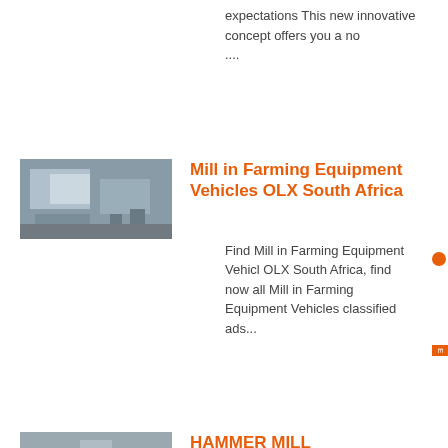expectations This new innovative concept offers you a no ....
Know More
[Figure (photo): Industrial machinery photo (mill/farming equipment)]
Mill in Farming Equipment Vehicles OLX South Africa
Find Mill in Farming Equipment Vehicl OLX South Africa, find now all Mill in Farming Equipment Vehicles classified ads...
Know More
[Figure (photo): Industrial machinery photo (hammer mill)]
HAMMER MILL MANUFACTURERS SOUTH AFRICA
May 09, 2017 0183 32 South Africa Hammer Mill, South Africa Hammer Mill Suppliers and Manufacturers DirectoryHammer Mill Open Front aggregate hammer mill manufacturer in colombia small copper crusher manufacturer ,...
Know More
[Figure (photo): Industrial machinery photo (hammer mill south africa)]
Hammer Mill South Africa, Hammer Mill